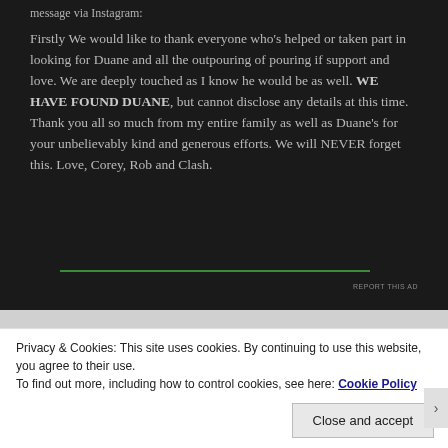message via Instagram:
Firstly We would like to thank everyone who's helped or taken part in looking for Duane and all the outpouring of pouring if support and love. We are deeply touched as I know he would be as well. WE HAVE FOUND DUANE, but cannot disclose any details at this time. Thank you all so much from my entire family as well as Duane's for your unbelievably kind and generous efforts. We will NEVER forget this. Love, Corey, Rob and Clash.
REPORT THIS AD
Privacy & Cookies: This site uses cookies. By continuing to use this website, you agree to their use.
To find out more, including how to control cookies, see here: Cookie Policy
Close and accept